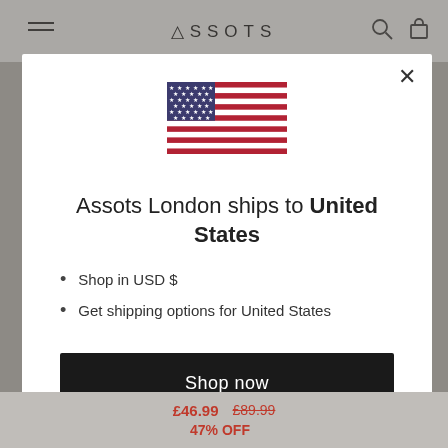ASSOTS
[Figure (screenshot): Modal dialog on e-commerce website showing US flag, shipping information, and shop now button]
Assots London ships to United States
Shop in USD $
Get shipping options for United States
Shop now
Change shipping country
£46.99  £89.99  47% OFF